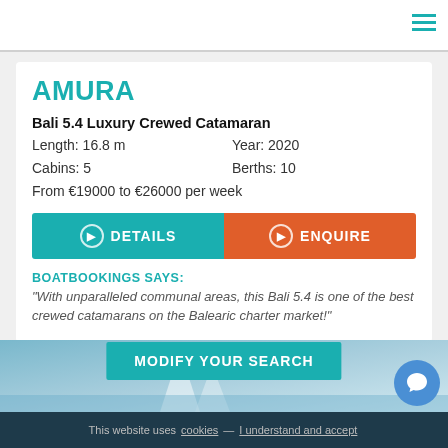Navigation bar with hamburger menu
AMURA
Bali 5.4 Luxury Crewed Catamaran
Length: 16.8 m   Year: 2020
Cabins: 5   Berths: 10
From €19000 to €26000 per week
DETAILS   ENQUIRE
BOATBOOKINGS SAYS:
"With unparalleled communal areas, this Bali 5.4 is one of the best crewed catamarans on the Balearic charter market!"
MODIFY YOUR SEARCH
[Figure (photo): Partial view of a sailing catamaran on water]
This website uses cookies — I understand and accept